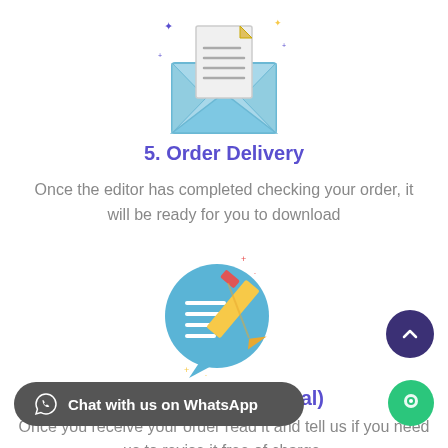[Figure (illustration): Open envelope with document/letter icon, decorative sparkle dots around it]
5. Order Delivery
Once the editor has completed checking your order, it will be ready for you to download
[Figure (illustration): Chat bubble with pencil/editing icon, decorative plus and dot around it]
6. Revision(Optional)
Once you receive your order read it and tell us if you need us to revise it free of charge.